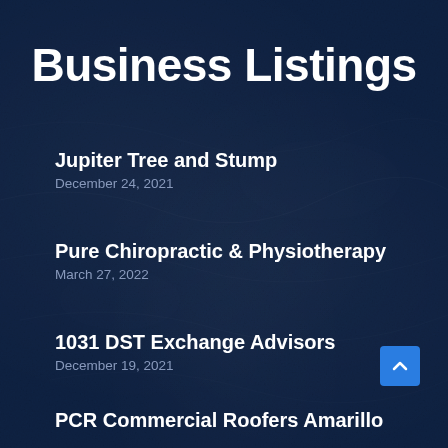Business Listings
Jupiter Tree and Stump
December 24, 2021
Pure Chiropractic & Physiotherapy
March 27, 2022
1031 DST Exchange Advisors
December 19, 2021
PCR Commercial Roofers Amarillo